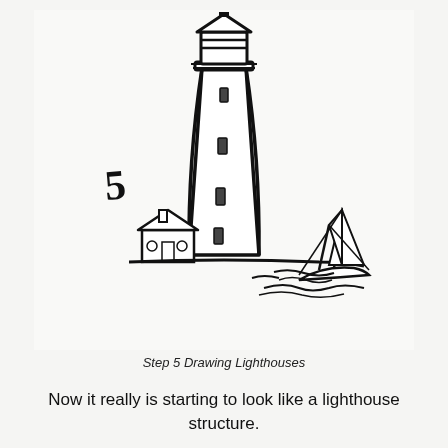[Figure (illustration): Hand-drawn step 5 illustration of a lighthouse drawing tutorial. Shows a tall tapered lighthouse tower with a lamp room at the top featuring a pointed roof and railing. The tower has four small rectangular windows along its height. At the base left is a small keeper's house with a pointed roof and two circular windows. At the base right is a sailing boat with two masts and rigging. Shoreline waves are sketched at the base. A large handwritten number '5' appears to the left of the tower. The drawing is in black ink on white/light background.]
Step 5 Drawing Lighthouses
Now it really is starting to look like a lighthouse structure.